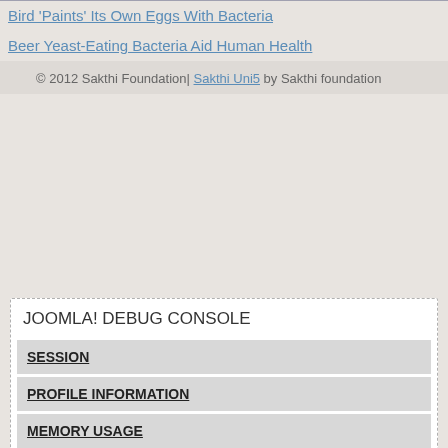Bird 'Paints' Its Own Eggs With Bacteria
Beer Yeast-Eating Bacteria Aid Human Health
© 2012 Sakthi Foundation| Sakthi Uni5 by Sakthi foundation
JOOMLA! DEBUG CONSOLE
SESSION
PROFILE INFORMATION
MEMORY USAGE
DATABASE QUERIES